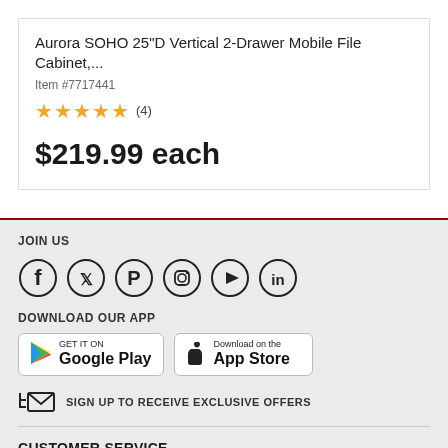Aurora SOHO 25"D Vertical 2-Drawer Mobile File Cabinet,...
Item #7717441
★★★★★ (4)
$219.99 each
JOIN US
[Figure (infographic): Social media icons in circles: Facebook, Twitter, Pinterest, Instagram, YouTube, LinkedIn]
DOWNLOAD OUR APP
[Figure (infographic): Google Play and App Store download buttons]
SIGN UP TO RECEIVE EXCLUSIVE OFFERS
CUSTOMER SERVICE